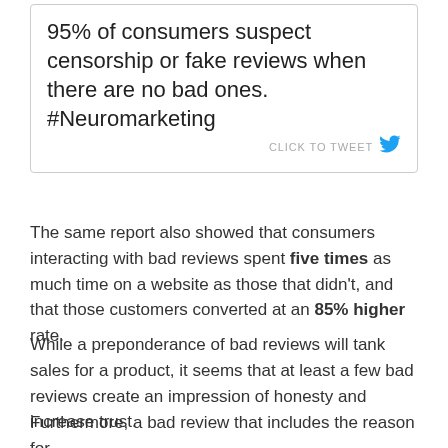[Figure (infographic): Tweet-style quote box with text: '95% of consumers suspect censorship or fake reviews when there are no bad ones. #Neuromarketing' and a 'CLICK TO TWEET' button with Twitter bird icon]
The same report also showed that consumers interacting with bad reviews spent five times as much time on a website as those that didn't, and that those customers converted at an 85% higher rate.
While a preponderance of bad reviews will tank sales for a product, it seems that at least a few bad reviews create an impression of honesty and increase trust.
Furthermore, a bad review that includes the reason for...